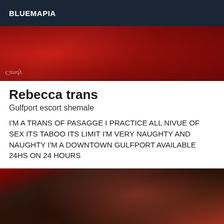BLUEMAPIA
[Figure (photo): Close-up photo showing red high heels and fabric, partially blurred]
Rebecca trans
Gulfport escort shemale
I'M A TRANS OF PASAGGE I PRACTICE ALL NIVUE OF SEX ITS TABOO ITS LIMIT I'M VERY NAUGHTY AND NAUGHTY I'M A DOWNTOWN GULFPORT AVAILABLE 24HS ON 24 HOURS
[Figure (photo): Dark photo showing person in black clothing against red fabric background]